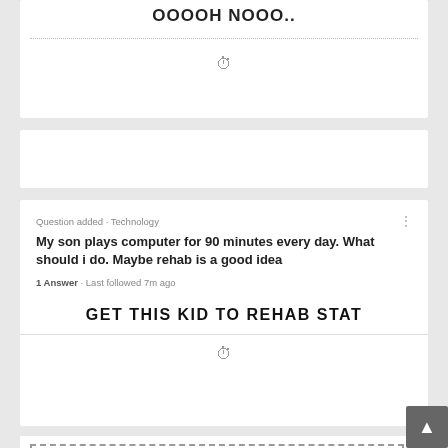OOOOH NOOO..
[Figure (screenshot): Blank white card section]
Question added · Technology
My son plays computer for 90 minutes every day. What should i do. Maybe rehab is a good idea
1 Answer · Last followed 7m ago
GET THIS KID TO REHAB STAT
[Figure (logo): IFTTT logo inside dashed border box]